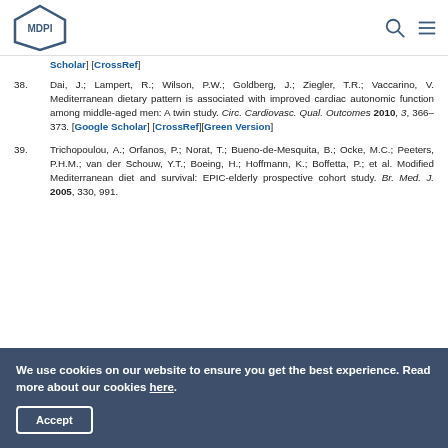MDPI [logo] [search icon] [menu icon]
[Google Scholar] [CrossRef] (continuation from previous reference)
38. Dai, J.; Lampert, R.; Wilson, P.W.; Goldberg, J.; Ziegler, T.R.; Vaccarino, V. Mediterranean dietary pattern is associated with improved cardiac autonomic function among middle-aged men: A twin study. Circ. Cardiovasc. Qual. Outcomes 2010, 3, 366–373. [Google Scholar] [CrossRef][Green Version]
39. Trichopoulou, A.; Orfanos, P.; Norat, T.; Bueno-de-Mesquita, B.; Ocke, M.C.; Peeters, P.H.M.; van der Schouw, Y.T.; Boeing, H.; Hoffmann, K.; Boffetta, P.; et al. Modified Mediterranean diet and survival: EPIC-elderly prospective cohort study. Br. Med. J. 2005, 330, 991.
We use cookies on our website to ensure you get the best experience. Read more about our cookies here.